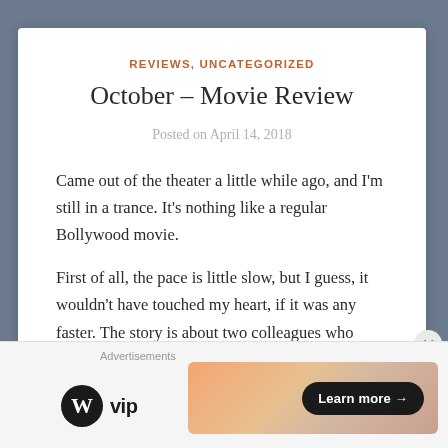REVIEWS, UNCATEGORIZED
October – Movie Review
Posted on April 14, 2018
Came out of the theater a little while ago, and I'm still in a trance. It's nothing like a regular Bollywood movie.
First of all, the pace is little slow, but I guess, it wouldn't have touched my heart, if it was any faster. The story is about two colleagues who barely talked to
Advertisements